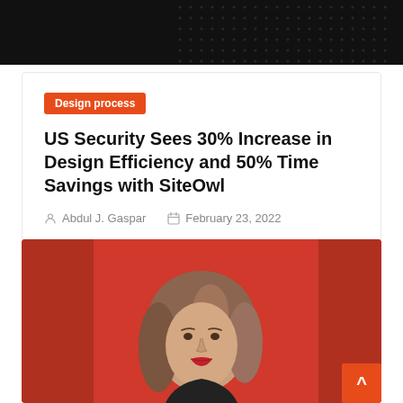[Figure (photo): Dark banner with dot pattern texture at the top of the page]
Design process
US Security Sees 30% Increase in Design Efficiency and 50% Time Savings with SiteOwl
Abdul J. Gaspar   February 23, 2022
[Figure (photo): Portrait photo of a woman with long wavy hair against a red background, wearing red lipstick]